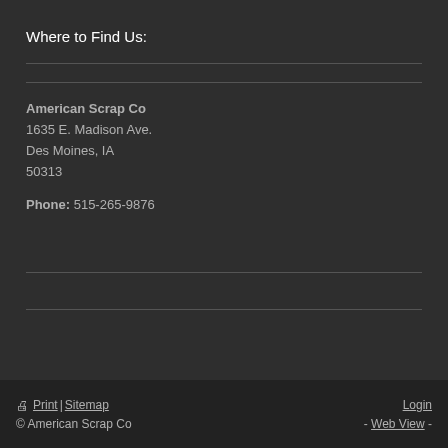Where to Find Us:
American Scrap Co
1635 E. Madison Ave.
Des Moines, IA
50313

Phone: 515-265-9876
Print | Sitemap
© American Scrap Co
Login
- Web View -